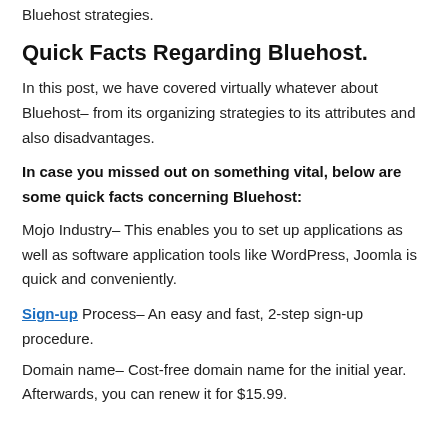Bluehost strategies.
Quick Facts Regarding Bluehost.
In this post, we have covered virtually whatever about Bluehost– from its organizing strategies to its attributes and also disadvantages.
In case you missed out on something vital, below are some quick facts concerning Bluehost:
Mojo Industry– This enables you to set up applications as well as software application tools like WordPress, Joomla is quick and conveniently.
Sign-up Process– An easy and fast, 2-step sign-up procedure.
Domain name– Cost-free domain name for the initial year. Afterwards, you can renew it for $15.99.